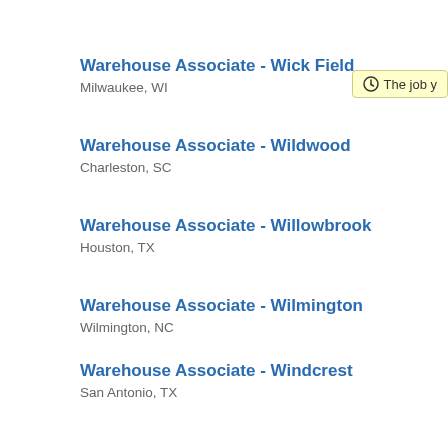Warehouse Associate - Wick Field
Milwaukee, WI
Warehouse Associate - Wildwood
Charleston, SC
Warehouse Associate - Willowbrook
Houston, TX
Warehouse Associate - Wilmington
Wilmington, NC
Warehouse Associate - Windcrest
San Antonio, TX
Warehouse Associate - York
York, ON
Warehouse Associate - York University Heights